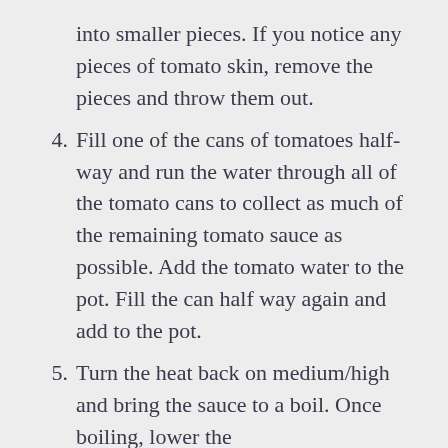into smaller pieces. If you notice any pieces of tomato skin, remove the pieces and throw them out.
4. Fill one of the cans of tomatoes half-way and run the water through all of the tomato cans to collect as much of the remaining tomato sauce as possible. Add the tomato water to the pot. Fill the can half way again and add to the pot.
5. Turn the heat back on medium/high and bring the sauce to a boil. Once boiling, lower the